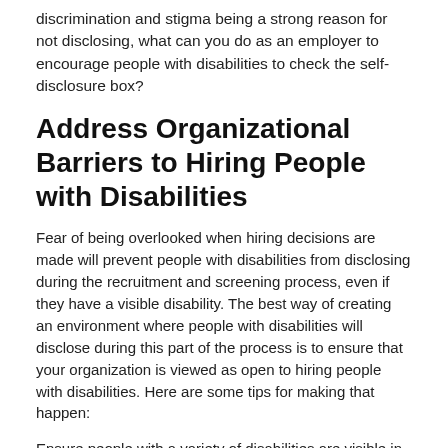...discrimination and stigma being a strong reason for not disclosing, what can you do as an employer to encourage people with disabilities to check the self-disclosure box?
Address Organizational Barriers to Hiring People with Disabilities
Fear of being overlooked when hiring decisions are made will prevent people with disabilities from disclosing during the recruitment and screening process, even if they have a visible disability. The best way of creating an environment where people with disabilities will disclose during this part of the process is to ensure that your organization is viewed as open to hiring people with disabilities. Here are some tips for making that happen:
Ensure people with a variety of disabilities are visible in your ads and social media.
Include disability in your diversity statements.
Ensure your application process is accessible to people with disabilities.